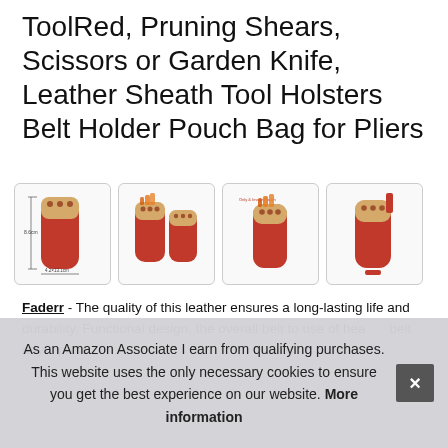ToolRed, Pruning Shears, Scissors or Garden Knife, Leather Sheath Tool Holsters Belt Holder Pouch Bag for Pliers
[Figure (photo): Four thumbnail photos of a red leather tool holster/sheath pouch from various angles, some showing pruning shears inserted]
Faderr - The quality of this leather ensures a long-lasting life and durability. Functional design, the overall belt to use of heavy duty leather, durable steel snap closure, with belt loop & belt clip, fits all belt widths, suitable for any outdoor activities such as gardening, camping, hunting, pruning...
As an Amazon Associate I earn from qualifying purchases. This website uses the only necessary cookies to ensure you get the best experience on our website. More information